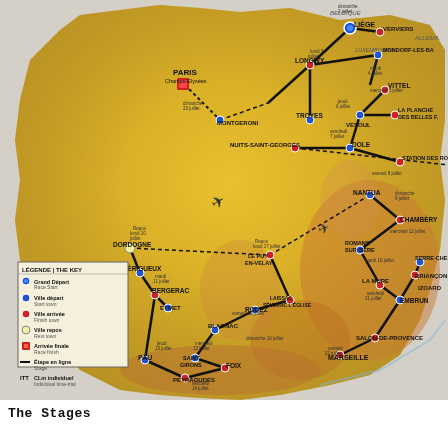[Figure (map): Tour de France route map showing France in golden/yellow relief with the race route marked in black lines connecting various stage cities. Key cities labeled include: Paris (Champs-Elysées), LIÈGE, VERVIERS, MONDORF-LES-BA, LONGWY, TROYES, VITTEL, LA PLANCHE DES BELLES F, VESOUL, DOLE, NUITS-SAINT-GEORGES, STATION DES ROU, NANTUA, CHAMBÉRY, ROMANS SUR ISÈRE, LE PUY EN-VELAY, SERRE-CHE, BRIANÇON, IZOARD, LA MURE, EMBRUN, SALON-DE-PROVENCE, MARSEILLE, MONTGERONS, DORDOGNE, PÉRIGUEUX, BERGERAC, EYMET, PAU, PEYRAGUDES, FOIX, SAINT GIRONS, BLAGNAC, RODEZ, LAISSAC SÉVERAC L'ÉGLISE. Dates in French shown along the route. Legend box in lower left showing: Grand Départ/Race Start, Ville départ/Start town, Ville arrivée/Finish town, Ville repos/Rest town, Arrivée finale/Race finish, Etape en ligne/Stage, CLM individuel/Individual time-trial. Belgium (BELGIQUE), Luxembourg (LUXEMBOURG), and Germany (ALLEMA.) labeled at borders.]
The Stages